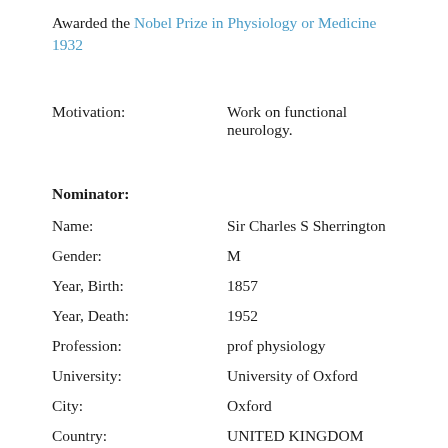Awarded the Nobel Prize in Physiology or Medicine 1932
Motivation: Work on functional neurology.
Nominator:
Name: Sir Charles S Sherrington
Gender: M
Year, Birth: 1857
Year, Death: 1952
Profession: prof physiology
University: University of Oxford
City: Oxford
Country: UNITED KINGDOM (GB)